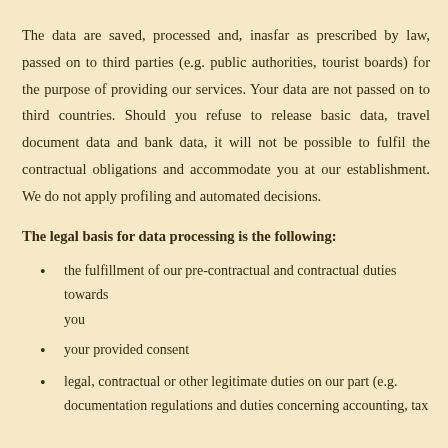The data are saved, processed and, inasfar as prescribed by law, passed on to third parties (e.g. public authorities, tourist boards) for the purpose of providing our services. Your data are not passed on to third countries. Should you refuse to release basic data, travel document data and bank data, it will not be possible to fulfil the contractual obligations and accommodate you at our establishment. We do not apply profiling and automated decisions.
The legal basis for data processing is the following:
the fulfillment of our pre-contractual and contractual duties towards you
your provided consent
legal, contractual or other legitimate duties on our part (e.g. documentation regulations and duties concerning accounting, tax